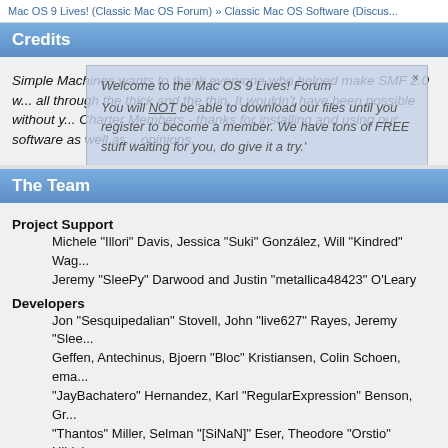Mac OS 9 Lives! (Classic Mac OS Forum) » Classic Mac OS Software (Discus...
Credits
Simple Machines wants to thank everyone who helped make SMF 2.0 w... all through the thick and the thin. It wouldn't have been possible without y... Charter Members - thanks for installing and using our software as well as... opinions.
The Team
Project Support
Michele "Illori" Davis, Jessica "Suki" González, Will "Kindred" Wa... Jeremy "SleePy" Darwood and Justin "metallica48423" O'Leary
Developers
Jon "Sesquipedalian" Stovell, John "live627" Rayes, Jeremy "Slee... Geffen, Antechinus, Bjoern "Bloc" Kristiansen, Colin Schoen, ema... "JayBachatero" Hernandez, Karl "RegularExpression" Benson, Gr... "Thantos" Miller, Selman "[SiNaN]" Eser, Theodore "Orstio" Hildeb...
Support Specialists
Aleksi "Lex" Kilpinen, br360, GigaWatt, Will "Kindred" Wagner, Ste... Aleksi "Lex" Kilpinen, Ben Scott, Bigguy, CapadY, Chalky, Chas L... Gadsdon, gbsothere, Harro, Huw, Jan-Olof "Owdy" Eriksson, Jere... "greyknight17" Hou, KGIII, Kill Em All, lurkalot, margarett, Mattituc... MrPhil, Nick "Fizzy" Dyer, Nick "Ha²", Paul, Pauline, Piro "Sarge" ...